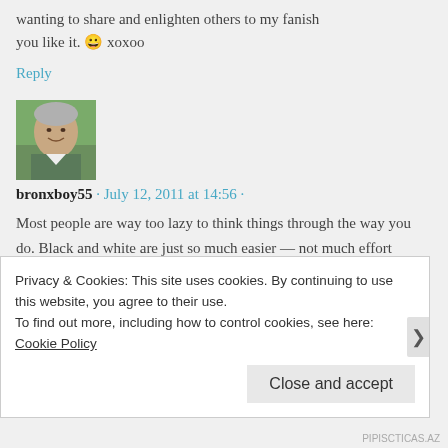wanting to share and enlighten others to my fanish you like it. 😀 xoxoo
Reply
[Figure (photo): Avatar photo of commenter bronxboy55, an older man with white/gray hair, smiling outdoors]
bronxboy55 · July 12, 2011 at 14:56 ·
Most people are way too lazy to think things through the way you do. Black and white are just so much easier — not much effort required. I agree that much of life falls into the gray area, and that's where it helps to be able to put yourself in
Privacy & Cookies: This site uses cookies. By continuing to use this website, you agree to their use.
To find out more, including how to control cookies, see here: Cookie Policy
Close and accept